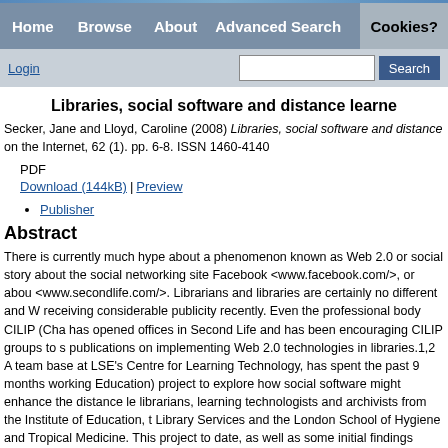Home  Browse  About  Advanced Search  Cookies?
Login  Search
Libraries, social software and distance learne
Secker, Jane and Lloyd, Caroline (2008) Libraries, social software and distance on the Internet, 62 (1). pp. 6-8. ISSN 1460-4140
PDF
Download (144kB) | Preview
Publisher
Abstract
There is currently much hype about a phenomenon known as Web 2.0 or social story about the social networking site Facebook <www.facebook.com/>, or abou <www.secondlife.com/>. Librarians and libraries are certainly no different and W receiving considerable publicity recently. Even the professional body CILIP (Cha has opened offices in Second Life and has been encouraging CILIP groups to s publications on implementing Web 2.0 technologies in libraries.1,2 A team base at LSE's Centre for Learning Technology, has spent the past 9 months working Education) project to explore how social software might enhance the distance le librarians, learning technologists and archivists from the Institute of Education, t Library Services and the London School of Hygiene and Tropical Medicine. This project to date, as well as some initial findings about how these technologies ar